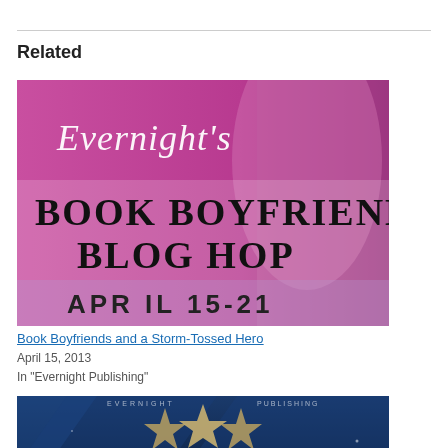Related
[Figure (photo): Evernight's Book Boyfriend Blog Hop promotional banner, pink/magenta background with a shirtless male figure, large text reading 'Evernight's BOOK BOYFRIEND BLOG HOP APR IL 15-21']
Book Boyfriends and a Storm-Tossed Hero
April 15, 2013
In "Evernight Publishing"
[Figure (photo): Evernight Publishing 5th anniversary banner, dark blue background with stars and text 'EVERNIGHT PUBLISHING 5TH']